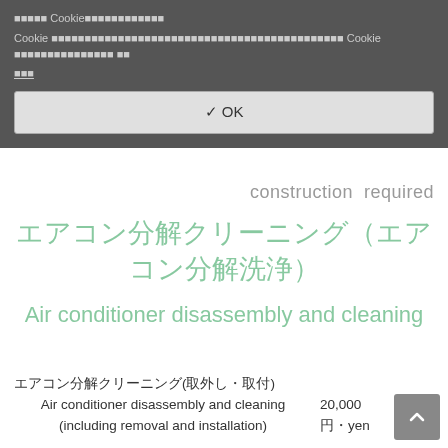Cookie（クッキー）のご利用について Cookie はご利用のデバイスに情報を保存するための小さなテキストファイルです。Cookie のご利用については、以下の 設定
✔ OK
construction required
エアコン分解クリーニング（エアコン分解洗浄）
Air conditioner disassembly and cleaning
エアコン分解クリーニング(取外し・取付) Air conditioner disassembly and cleaning (including removal and installation) 20,000 円・yen